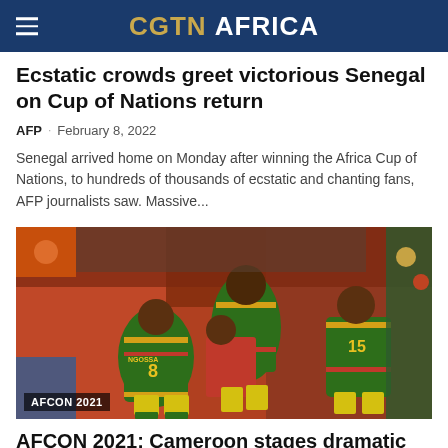CGTN AFRICA
Ecstatic crowds greet victorious Senegal on Cup of Nations return
AFP · February 8, 2022
Senegal arrived home on Monday after winning the Africa Cup of Nations, to hundreds of thousands of ecstatic and chanting fans, AFP journalists saw. Massive...
[Figure (photo): Football players in green and yellow Cameroon jerseys during an AFCON 2021 match. One player numbered 8 (NGOSSA) and another numbered 15 are visible. Badge reads AFCON 2021.]
AFCON 2021: Cameroon stages dramatic